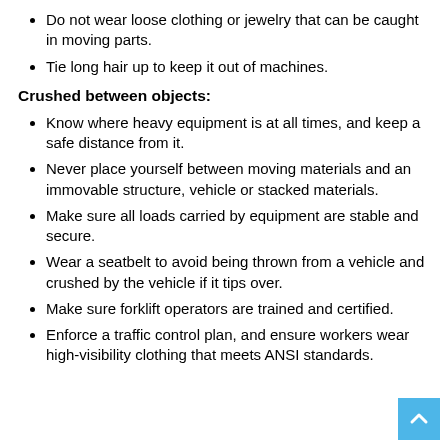Do not wear loose clothing or jewelry that can be caught in moving parts.
Tie long hair up to keep it out of machines.
Crushed between objects:
Know where heavy equipment is at all times, and keep a safe distance from it.
Never place yourself between moving materials and an immovable structure, vehicle or stacked materials.
Make sure all loads carried by equipment are stable and secure.
Wear a seatbelt to avoid being thrown from a vehicle and crushed by the vehicle if it tips over.
Make sure forklift operators are trained and certified.
Enforce a traffic control plan, and ensure workers wear high-visibility clothing that meets ANSI standards.